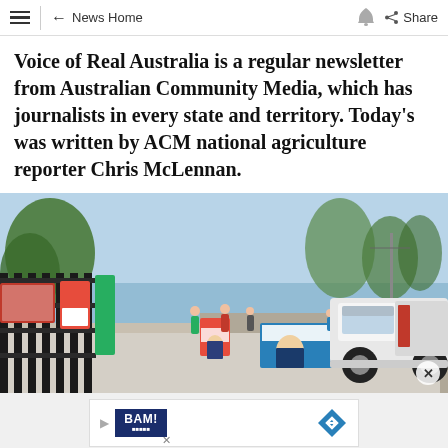≡ ← News Home 🔔 Share
Voice of Real Australia is a regular newsletter from Australian Community Media, which has journalists in every state and territory. Today's was written by ACM national agriculture reporter Chris McLennan.
[Figure (photo): Outdoor scene showing a polling place or election site with campaign signs and banners along a fence on a footpath. People visible in the background. A white ute parked on the right. Clear sunny day with trees.]
[Figure (other): Advertisement banner showing BAM! logo with play button and navigation arrow icon]